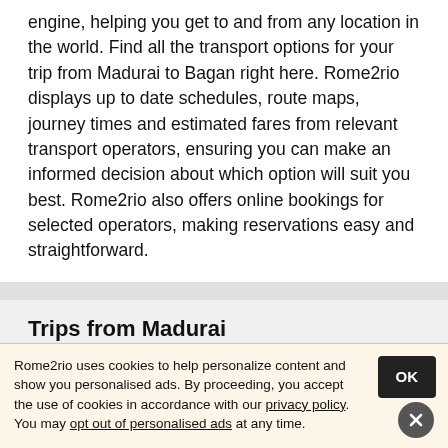engine, helping you get to and from any location in the world. Find all the transport options for your trip from Madurai to Bagan right here. Rome2rio displays up to date schedules, route maps, journey times and estimated fares from relevant transport operators, ensuring you can make an informed decision about which option will suit you best. Rome2rio also offers online bookings for selected operators, making reservations easy and straightforward.
Trips from Madurai
Rome2rio uses cookies to help personalize content and show you personalised ads. By proceeding, you accept the use of cookies in accordance with our privacy policy. You may opt out of personalised ads at any time.